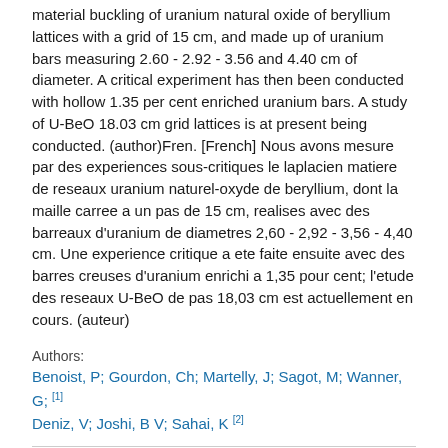material buckling of uranium natural oxide of beryllium lattices with a grid of 15 cm, and made up of uranium bars measuring 2.60 - 2.92 - 3.56 and 4.40 cm of diameter. A critical experiment has then been conducted with hollow 1.35 per cent enriched uranium bars. A study of U-BeO 18.03 cm grid lattices is at present being conducted. (author)Fren. [French] Nous avons mesure par des experiences sous-critiques le laplacien matiere de reseaux uranium naturel-oxyde de beryllium, dont la maille carree a un pas de 15 cm, realises avec des barreaux d'uranium de diametres 2,60 - 2,92 - 3,56 - 4,40 cm. Une experience critique a ete faite ensuite avec des barres creuses d'uranium enrichi a 1,35 pour cent; l'etude des reseaux U-BeO de pas 18,03 cm est actuellement en cours. (auteur)
Authors:
Benoist, P; Gourdon, Ch; Martelly, J; Sagot, M; Wanner, G; [1] Deniz, V; Joshi, B V; Sahai, K [2]
Show Author Affiliations
Publication Date: